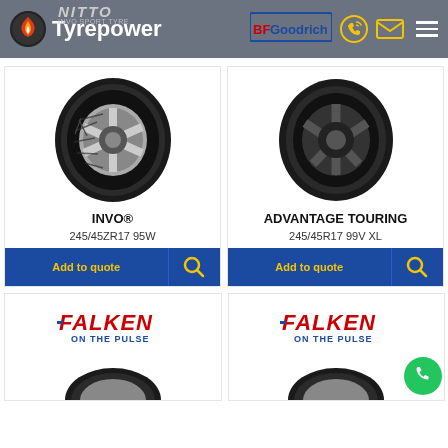[Figure (screenshot): Tyrepower website header with logo, Nitto brand logo, BFGoodrich logo, phone and email icons, and hamburger menu icon on grey background]
[Figure (photo): Nitto INVO tyre product image showing black tyre with chrome rim]
INVO®
245/45ZR17 95W
[Figure (photo): BFGoodrich Advantage Touring tyre product image showing black tyre with dark rim]
ADVANTAGE TOURING
245/45R17 99V XL
Add to quote
Add to quote
[Figure (logo): Falken ON THE PULSE brand logo in red and blue]
[Figure (logo): Falken ON THE PULSE brand logo in red and blue]
[Figure (photo): Partial Falken tyre visible at bottom of page]
[Figure (photo): Partial Falken tyre visible at bottom of page]